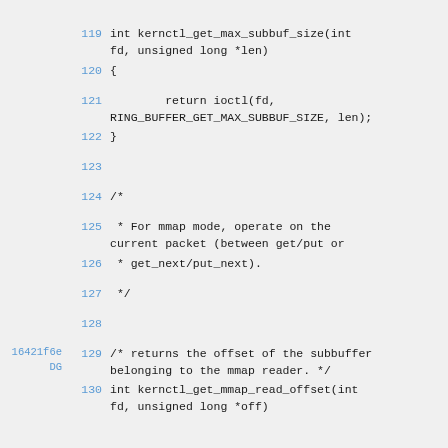code listing lines 119-130, C source code with git annotations
119  int kernctl_get_max_subbuf_size(int fd, unsigned long *len)
120  {
121      return ioctl(fd, RING_BUFFER_GET_MAX_SUBBUF_SIZE, len);
122  }
123
124  /*
125   * For mmap mode, operate on the current packet (between get/put or
126   * get_next/put_next).
127   */
128
16421f6e DG  129  /* returns the offset of the subbuffer belonging to the mmap reader. */
130  int kernctl_get_mmap_read_offset(int fd, unsigned long *off)